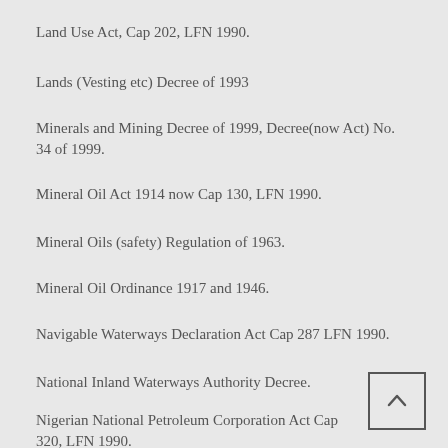Land Use Act, Cap 202, LFN 1990.
Lands (Vesting etc) Decree of 1993
Minerals and Mining Decree of 1999, Decree(now Act) No. 34 of 1999.
Mineral Oil Act 1914 now Cap 130, LFN 1990.
Mineral Oils (safety) Regulation of 1963.
Mineral Oil Ordinance 1917 and 1946.
Navigable Waterways Declaration Act Cap 287 LFN 1990.
National Inland Waterways Authority Decree.
Nigerian National Petroleum Corporation Act Cap 320, LFN 1990.